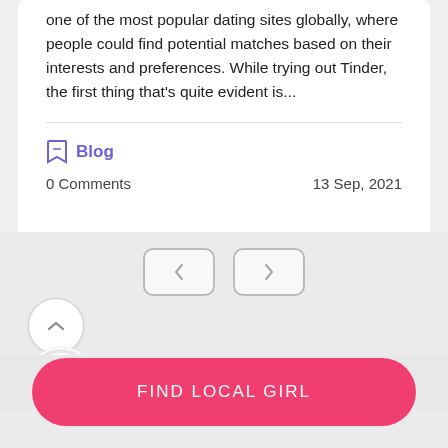one of the most popular dating sites globally, where people could find potential matches based on their interests and preferences. While trying out Tinder, the first thing that's quite evident is...
Blog
0 Comments    13 Sep, 2021
[Figure (other): Navigation previous and next arrow buttons (rounded rectangles with < and > arrows)]
[Figure (other): Up chevron circle button and 87% donut/circle rating indicator in pink]
FIND LOCAL GIRL